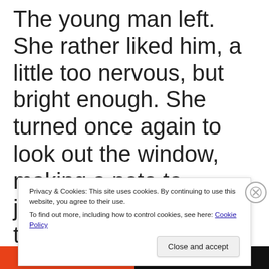The young man left. She rather liked him, a little too nervous, but bright enough. She turned once again to look out the window, making a note to journey to Engineering to make a point of dressing down Carlson in front of the ensign. The man had it coming
Privacy & Cookies: This site uses cookies. By continuing to use this website, you agree to their use. To find out more, including how to control cookies, see here: Cookie Policy
Close and accept